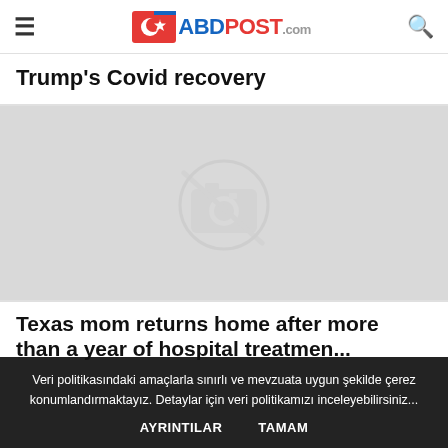ABDPost.com
Trump's Covid recovery
[Figure (photo): Image placeholder with no-image camera icon on grey background]
Texas mom returns home after more than a year of hospital treatment
Veri politikasındaki amaçlarla sınırlı ve mevzuata uygun şekilde çerez konumlandırmaktayız. Detaylar için veri politikamızı inceleyebilirsiniz...
AYRINTILAR    TAMAM